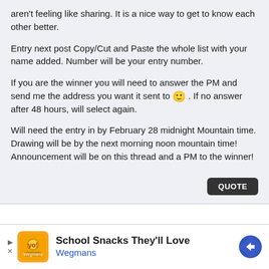aren't feeling like sharing. It is a nice way to get to know each other better.
Entry next post Copy/Cut and Paste the whole list with your name added. Number will be your entry number.
If you are the winner you will need to answer the PM and send me the address you want it sent to 🙂 . If no answer after 48 hours, will select again.
Will need the entry in by February 28 midnight Mountain time. Drawing will be by the next morning noon mountain time! Announcement will be on this thread and a PM to the winner!
[Figure (infographic): Advertisement banner for Wegmans School Snacks with orange icon, navigation arrows, and blue diamond arrow button]